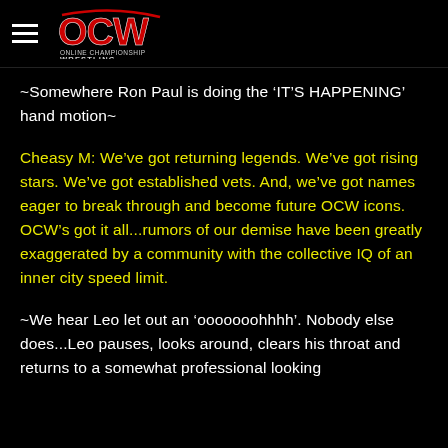OCW Online Championship Wrestling
~Somewhere Ron Paul is doing the ‘IT’S HAPPENING’ hand motion~
Cheasy M: We’ve got returning legends. We’ve got rising stars. We’ve got established vets. And, we’ve got names eager to break through and become future OCW icons. OCW’s got it all...rumors of our demise have been greatly exaggerated by a community with the collective IQ of an inner city speed limit.
~We hear Leo let out an ‘ooooooohhhh’. Nobody else does...Leo pauses, looks around, clears his throat and returns to a somewhat professional looking